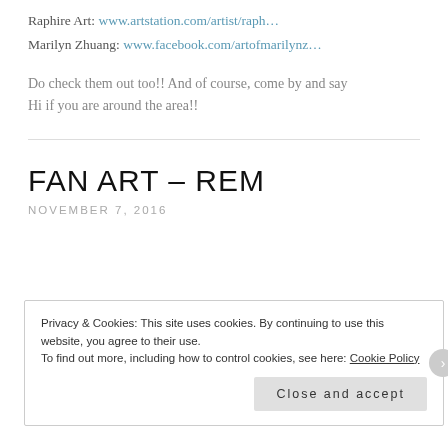Raphire Art: www.artstation.com/artist/raph…
Marilyn Zhuang: www.facebook.com/artofmarilynz…
Do check them out too!! And of course, come by and say Hi if you are around the area!!
FAN ART – REM
NOVEMBER 7, 2016
Privacy & Cookies: This site uses cookies. By continuing to use this website, you agree to their use.
To find out more, including how to control cookies, see here: Cookie Policy
Close and accept